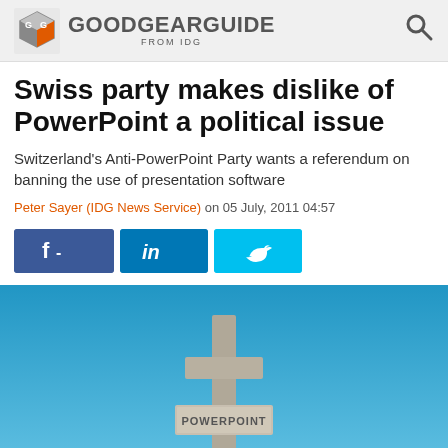[Figure (logo): GoodGearGuide from IDG logo with cube icon on left and search icon on right]
Swiss party makes dislike of PowerPoint a political issue
Switzerland's Anti-PowerPoint Party wants a referendum on banning the use of presentation software
Peter Sayer (IDG News Service) on 05 July, 2011 04:57
[Figure (other): Social share buttons: Facebook (f -), LinkedIn (in), Twitter (bird icon)]
[Figure (photo): Photo of a blue sky with a cross-shaped sign reading POWERPOINT]